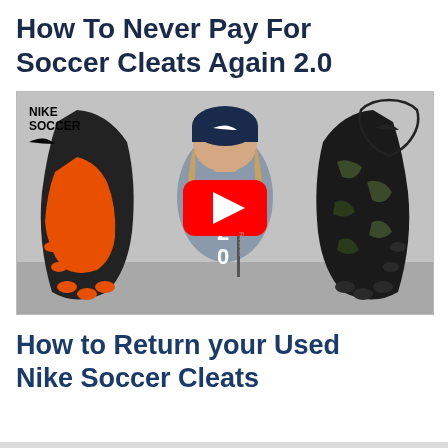How To Never Pay For Soccer Cleats Again 2.0
[Figure (screenshot): YouTube video thumbnail showing a man holding two pairs of used Nike soccer cleats, one orange and one black/camo, with a red YouTube play button overlay. Nike Soccer branding visible top-left and Nike shield logo top-right. Number 2.0 displayed on his shirt.]
How to Return your Used Nike Soccer Cleats